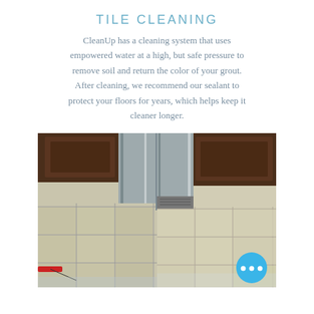TILE CLEANING
CleanUp has a cleaning system that uses empowered water at a high, but safe pressure to remove soil and return the color of your grout. After cleaning, we recommend our sealant to protect your floors for years, which helps keep it cleaner longer.
[Figure (photo): Before and after photo of tile floor cleaning. Left side shows tile floor with cleaning hose/tool visible. Right side shows cleaned tile floor. Dark wood cabinets and stainless steel appliance visible in the background. A blue circular chat button with three white dots is overlaid in the bottom right corner.]